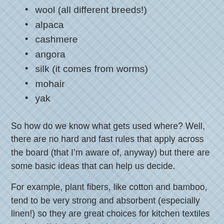wool (all different breeds!)
alpaca
cashmere
angora
silk (it comes from worms)
mohair
yak
So how do we know what gets used where? Well, there are no hard and fast rules that apply across the board (that I’m aware of, anyway) but there are some basic ideas that can help us decide.
For example, plant fibers, like cotton and bamboo, tend to be very strong and absorbent (especially linen!) so they are great choices for kitchen textiles such as dishcloths, hand towels, and placemats. They do not, however, hold their shape very well, especially